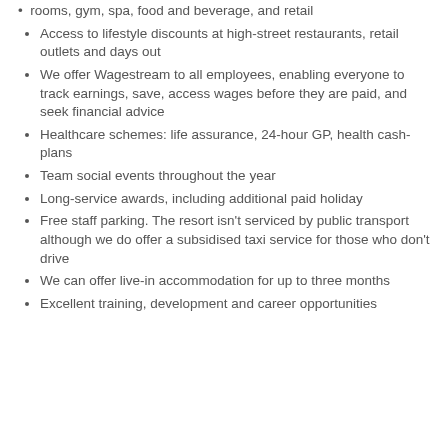rooms, gym, spa, food and beverage, and retail
Access to lifestyle discounts at high-street restaurants, retail outlets and days out
We offer Wagestream to all employees, enabling everyone to track earnings, save, access wages before they are paid, and seek financial advice
Healthcare schemes: life assurance, 24-hour GP, health cash-plans
Team social events throughout the year
Long-service awards, including additional paid holiday
Free staff parking. The resort isn't serviced by public transport although we do offer a subsidised taxi service for those who don't drive
We can offer live-in accommodation for up to three months
Excellent training, development and career opportunities